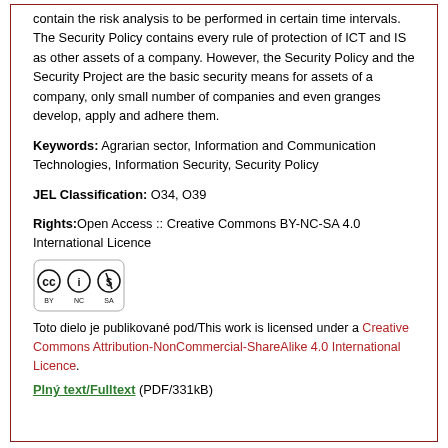contain the risk analysis to be performed in certain time intervals. The Security Policy contains every rule of protection of ICT and IS as other assets of a company. However, the Security Policy and the Security Project are the basic security means for assets of a company, only small number of companies and even granges develop, apply and adhere them.
Keywords: Agrarian sector, Information and Communication Technologies, Information Security, Security Policy
JEL Classification: O34, O39
Rights: Open Access :: Creative Commons BY-NC-SA 4.0 International Licence
[Figure (logo): Creative Commons BY-NC-SA license badge]
Toto dielo je publikované pod/This work is licensed under a Creative Commons Attribution-NonCommercial-ShareAlike 4.0 International Licence.
Plný text/Fulltext (PDF/331kB)